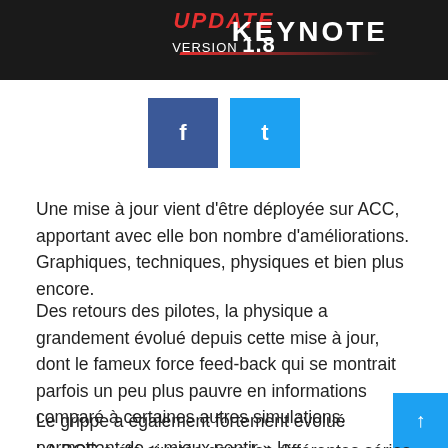[Figure (illustration): Dark header banner for ACC Update Version 1.8 Keynote with red accent line]
[Figure (other): Two social media buttons: Facebook (dark blue) and Twitter (light blue)]
Une mise à jour vient d'être déployée sur ACC, apportant avec elle bon nombre d'améliorations. Graphiques, techniques, physiques et bien plus encore.
Des retours des pilotes, la physique a grandement évolué depuis cette mise à jour, dont le fameux force feed-back qui se montrait parfois un peu plus pauvre en informations comparé à certaines autres simulations.
Le grippe a également fortement évolué permettant de « mieux sentir » la voiture en piste.
LA BOP a été ajustée dans les différentes séries afin de